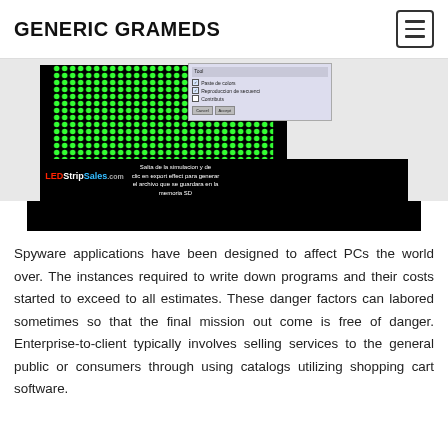GENERIC GRAMEDS
[Figure (screenshot): Screenshot of LEDStripSales.com software interface showing an LED matrix panel simulation with green LED dots, a software UI panel, the LEDStripSales.com logo overlay, and Spanish text instructions about simulation and exporting effects to SD memory.]
Spyware applications have been designed to affect PCs the world over. The instances required to write down programs and their costs started to exceed to all estimates. These danger factors can labored sometimes so that the final mission out come is free of danger. Enterprise-to-client typically involves selling services to the general public or consumers through using catalogs utilizing shopping cart software.